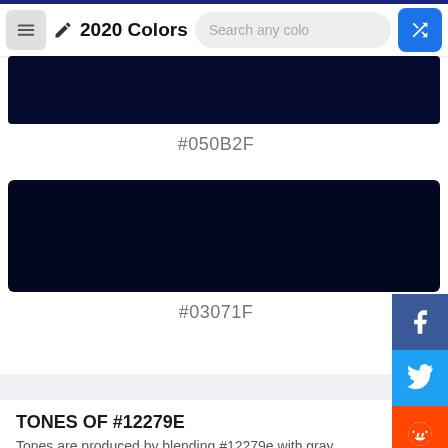2020 Colors
[Figure (other): Color swatch showing #050B2F (dark navy blue)]
#050B2F
[Figure (other): Color swatch showing #03071F (very dark navy blue)]
#03071F
TONES OF #12279E
Tones are produced by blending #12279e with gray